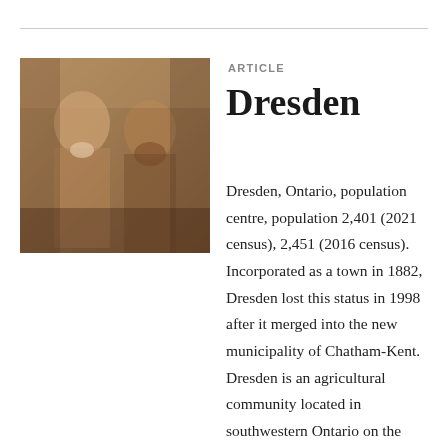[Figure (photo): Sepia-toned historical photograph of two people, a woman in period dress on the left and a man with a beard on the right, posed together.]
ARTICLE
Dresden
Dresden, Ontario, population centre, population 2,401 (2021 census), 2,451 (2016 census). Incorporated as a town in 1882, Dresden lost this status in 1998 after it merged into the new municipality of Chatham-Kent. Dresden is an agricultural community located in southwestern Ontario on the Sydenham River. The Dawn Settlement